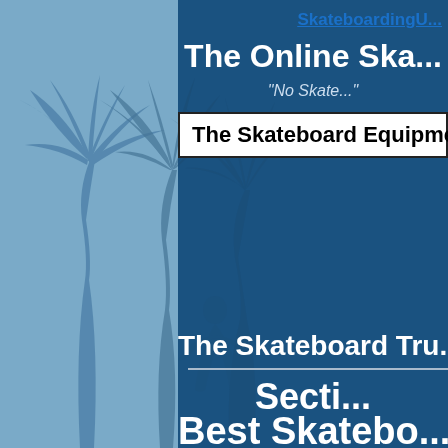SkateboardingU...
The Online Ska...
"No Skate..."
The Skateboard Equipment C...
The Skateboard Tru...
Secti...
Best Skatebo...